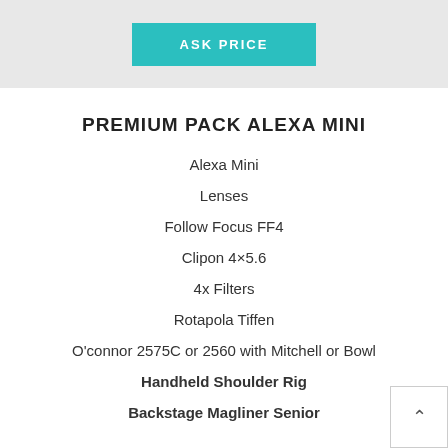[Figure (other): Teal/turquoise 'ASK PRICE' button on a light grey banner background]
PREMIUM PACK ALEXA MINI
Alexa Mini
Lenses
Follow Focus FF4
Clipon 4×5.6
4x Filters
Rotapola Tiffen
O'connor 2575C or 2560 with Mitchell or Bowl
Handheld Shoulder Rig
Backstage Magliner Senior